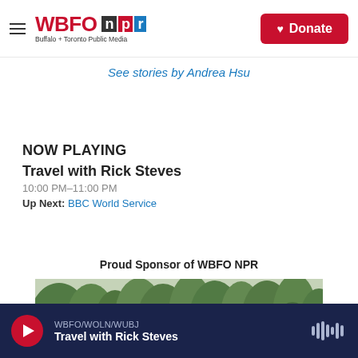WBFO NPR — Buffalo + Toronto Public Media | Donate
See stories by Andrea Hsu
NOW PLAYING
Travel with Rick Steves
10:00 PM–11:00 PM
Up Next: BBC World Service
Proud Sponsor of WBFO NPR
[Figure (photo): Fallingwater or similar stone and concrete structure surrounded by dense green forest trees]
WBFO/WOLN/WUBJ  Travel with Rick Steves  [audio player bar]